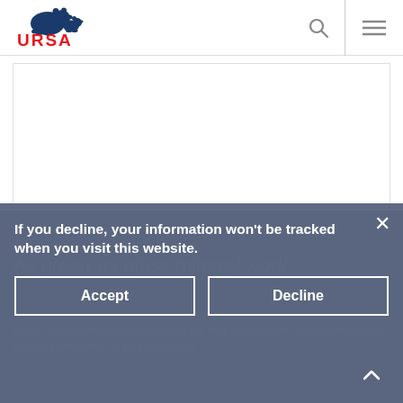[Figure (logo): URSA logo with polar bear icon and red URSA text]
[Figure (screenshot): Navigation bar with search and hamburger menu icons]
[Figure (screenshot): White content card area below navigation]
As green as glass mineral wool
Some manufactured solutions which are very good for the environment remain relatively unknown, for example, glass
If you decline, your information won't be tracked when you visit this website.
Accept
Decline